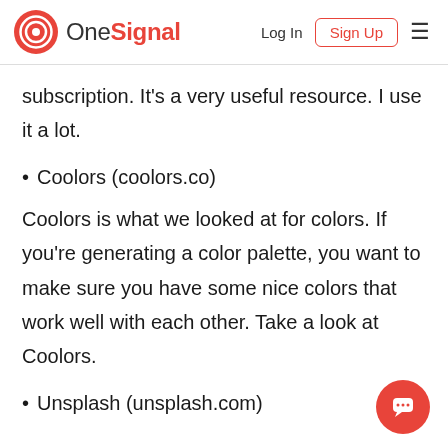OneSignal — Log In  Sign Up
subscription. It's a very useful resource. I use it a lot.
• Coolors (coolors.co)
Coolors is what we looked at for colors. If you're generating a color palette, you want to make sure you have some nice colors that work well with each other. Take a look at Coolors.
• Unsplash (unsplash.com)